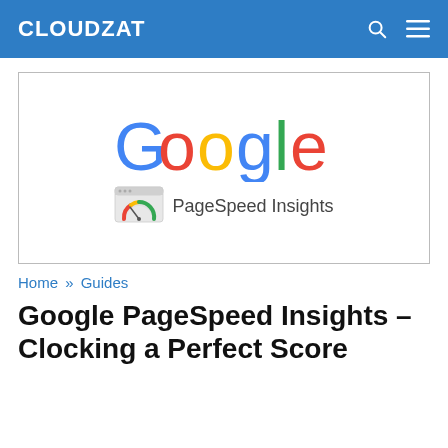CLOUDZAT
[Figure (logo): Google PageSpeed Insights logo — Google wordmark in multicolor above a PageSpeed Insights icon and text label, inside a bordered rectangle]
Home » Guides
Google PageSpeed Insights – Clocking a Perfect Score